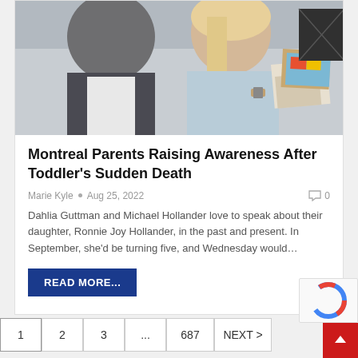[Figure (photo): Two adults (a man in a suit and a woman with blonde hair in a light blue top) sitting on a couch looking at photos/documents together.]
Montreal Parents Raising Awareness After Toddler's Sudden Death
Marie Kyle  •  Aug 25, 2022    0
Dahlia Guttman and Michael Hollander love to speak about their daughter, Ronnie Joy Hollander, in the past and present. In September, she'd be turning five, and Wednesday would…
READ MORE...
1  2  3  ...  687  NEXT >